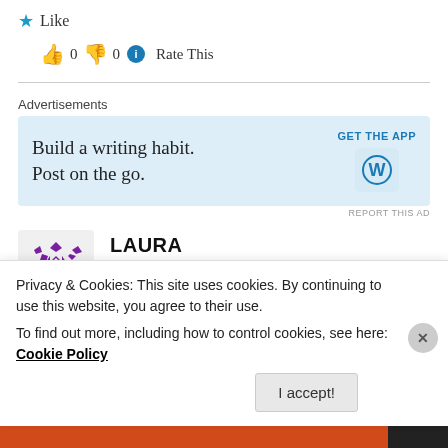★ Like
👍 0 👎 0 ℹ Rate This
Advertisements
[Figure (screenshot): WordPress advertisement: 'Build a writing habit. Post on the go.' with GET THE APP button and WordPress logo]
REPORT THIS AD
LAURA
January 9, 2021 at 9:57 am
May I have a copy of this too, please?
Privacy & Cookies: This site uses cookies. By continuing to use this website, you agree to their use.
To find out more, including how to control cookies, see here: Cookie Policy
I accept!